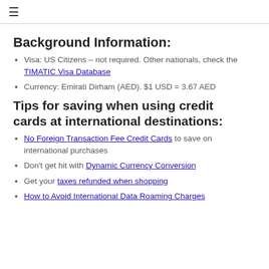≡
Background Information:
Visa: US Citizens – not required. Other nationals, check the TIMATIC Visa Database
Currency: Emirati Dirham (AED). $1 USD = 3.67 AED
Tips for saving when using credit cards at international destinations:
No Foreign Transaction Fee Credit Cards to save on international purchases
Don't get hit with Dynamic Currency Conversion
Get your taxes refunded when shopping
How to Avoid International Data Roaming Charges